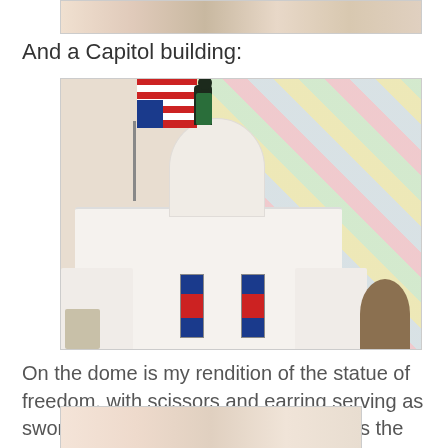[Figure (photo): Partial view of crochet craft figures, top portion cropped]
And a Capitol building:
[Figure (photo): A crocheted Capitol building with a dome, American flag, red/blue/white decorative elements, a dark figure on top of the dome representing the Statue of Freedom, and crochet figures at the base. A colorful patchwork quilt is visible in the background.]
On the dome is my rendition of the statue of freedom, with scissors and earring serving as sword and shield, in a color that honors the people who built the building, who were anything but free.
[Figure (photo): Bottom partial view of another crochet scene, mostly cropped]